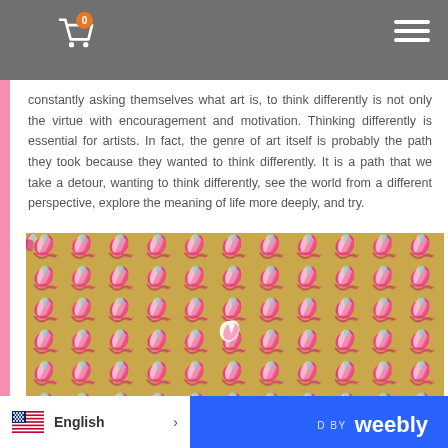Navigation header with cart icon (0 items) and hamburger menu
constantly asking themselves what art is, to think differently is not only the virtue with encouragement and motivation. Thinking differently is essential for artists. In fact, the genre of art itself is probably the path they took because they wanted to think differently. It is a path that we take a detour, wanting to think differently, see the world from a different perspective, explore the meaning of life more deeply, and try.
[Figure (illustration): A repeating textile or artwork pattern on a golden/tan background with colorful swirling brushstroke motifs in pink, red, white, purple and teal colors arranged in a dense repeating pattern. One motif near the center appears highlighted or different from the rest.]
English | Powered by Weebly